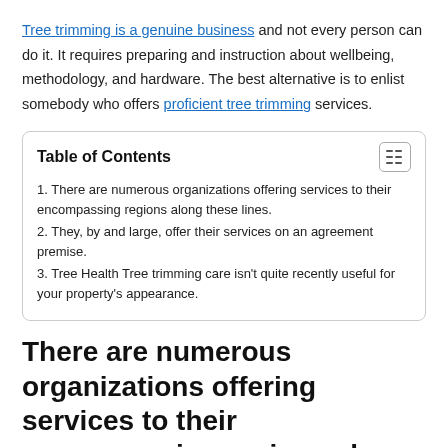Tree trimming is a genuine business and not every person can do it. It requires preparing and instruction about wellbeing, methodology, and hardware. The best alternative is to enlist somebody who offers proficient tree trimming services.
| Table of Contents |
| --- |
| 1. There are numerous organizations offering services to their encompassing regions along these lines. |
| 2. They, by and large, offer their services on an agreement premise. |
| 3. Tree Health Tree trimming care isn't quite recently useful for your property's appearance. |
There are numerous organizations offering services to their encompassing regions along these lines.